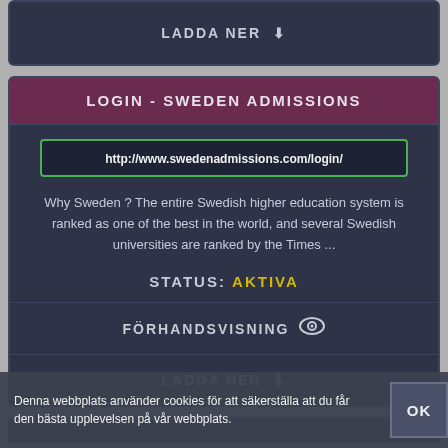[Figure (screenshot): Dark UI card with LADDA NER (download) button at top of page]
LOGIN - SWEDEN ADMISSIONS
http://www.swedenadmissions.com/login/
Why Sweden ? The entire Swedish higher education system is ranked as one of the best in the world, and several Swedish universities are ranked by the Times ...
STATUS: AKTIVA
FÖRHANDSVISNING
LADDA NER
Denna webbplats använder cookies för att säkerställa att du får den bästa upplevelsen på vår webbplats.